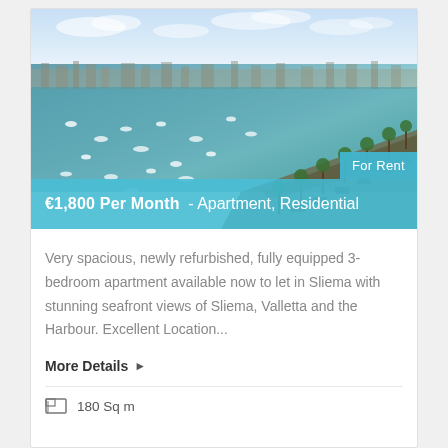[Figure (photo): Aerial view of Sliema harbour in Malta with boats moored in turquoise water, palm-tree lined promenade visible on the right side, cityscape in background]
For Rent
€1,800 Per Month - Apartment, Residential
Very spacious, newly refurbished, fully equipped 3-bedroom apartment available now to let in Sliema with stunning seafront views of Sliema, Valletta and the Harbour. Excellent Location...
More Details ▶
180 Sq m